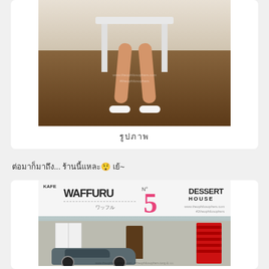[Figure (photo): Photo of person's legs and white sneakers seated on a white bench over wooden floor]
รูปภาพ
ต่อมาก็มาถึง... ร้านนี้แหละ😲 เย้~
[Figure (photo): Photo of Kafe Waffuru No. 5 Dessert House storefront with signage and car parked outside]